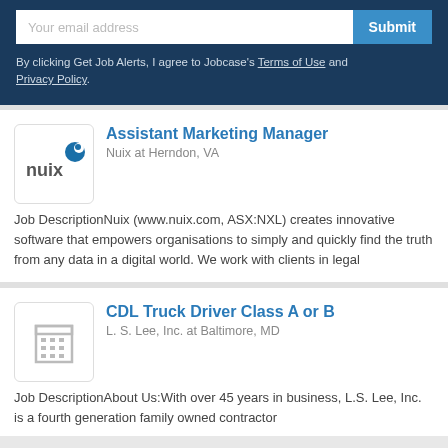Your email address
Submit
By clicking Get Job Alerts, I agree to Jobcase's Terms of Use and Privacy Policy.
Assistant Marketing Manager
Nuix at Herndon, VA
Job DescriptionNuix (www.nuix.com, ASX:NXL) creates innovative software that empowers organisations to simply and quickly find the truth from any data in a digital world. We work with clients in legal
CDL Truck Driver Class A or B
L. S. Lee, Inc. at Baltimore, MD
Job DescriptionAbout Us:With over 45 years in business, L.S. Lee, Inc. is a fourth generation family owned contractor